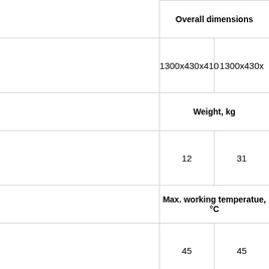|  | Col1 | Col2 |
| --- | --- | --- |
| Overall dimensions | 1300x430x410 | 1300x430x... |
| Weight, kg | 12 | 31 |
| Max. working temperatue, °C | 45 | 45 |
| Membrane material | PS | PS |